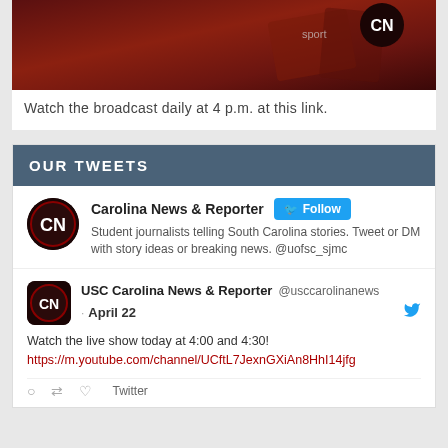[Figure (photo): Dark reddish broadcast studio graphic with CN logo visible]
Watch the broadcast daily at 4 p.m. at this link.
OUR TWEETS
Carolina News & Reporter
Student journalists telling South Carolina stories. Tweet or DM with story ideas or breaking news. @uofsc_sjmc
USC Carolina News & Reporter @usccarolinanews
· April 22
Watch the live show today at 4:00 and 4:30!
https://m.youtube.com/channel/UCftL7JexnGXiAn8HhI14jfg
Twitter